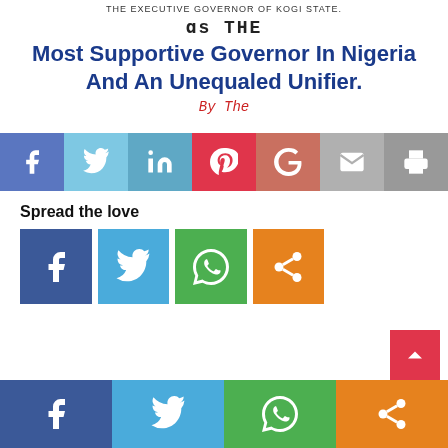THE EXECUTIVE GOVERNOR OF KOGI STATE.
as THE
Most Supportive Governor In Nigeria And An Unequaled Unifier.
By The
[Figure (infographic): Social share buttons bar: Facebook (blue), Twitter (light blue), LinkedIn (teal), Pinterest (red), Google+ (salmon), Email (gray), Print (gray)]
Spread the love
[Figure (infographic): Social share buttons: Facebook (dark blue), Twitter (blue), WhatsApp (green), Share (orange)]
[Figure (infographic): Bottom fixed social share bar: Facebook (dark blue), Twitter (blue), WhatsApp (green), Share (orange)]